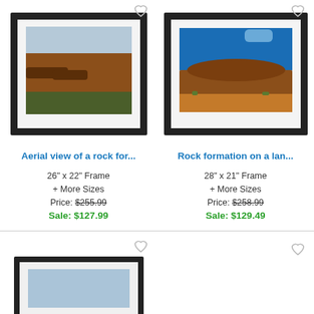[Figure (photo): Framed photo of aerial view of Uluru/Ayers Rock]
[Figure (photo): Framed photo of rock formation on a landscape under blue sky]
Aerial view of a rock for...
Rock formation on a lan...
26" x 22" Frame
+ More Sizes
Price: $255.99
Sale: $127.99
28" x 21" Frame
+ More Sizes
Price: $258.99
Sale: $129.49
[Figure (photo): Framed photo partially visible at bottom left]
[Figure (photo): Heart/wishlist icon at bottom right, second row]